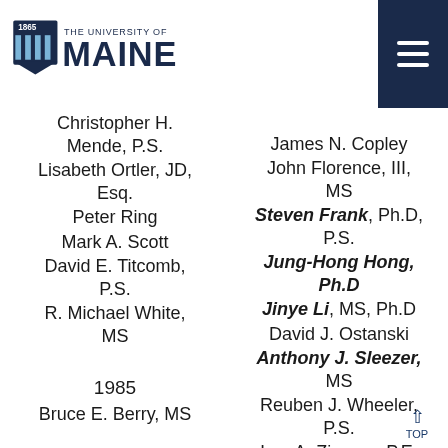The University of Maine (logo)
Christopher H. Mende, P.S.
Lisabeth Ortler, JD, Esq.
Peter Ring
Mark A. Scott
David E. Titcomb, P.S.
R. Michael White, MS
1985
Bruce E. Berry, MS
1986
Paul D. Haggerty,
James N. Copley
John Florence, III, MS
Steven Frank, Ph.D, P.S.
Jung-Hong Hong, Ph.D
Jinye Li, MS, Ph.D
David J. Ostanski
Anthony J. Sleezer, MS
Reuben J. Wheeler, P.S.
Lee A. Zimmer, P.E.